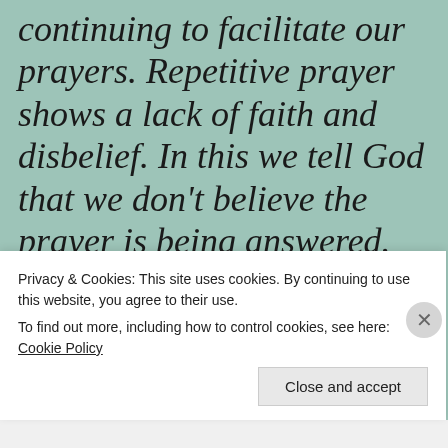continuing to facilitate our prayers.  Repetitive prayer shows a lack of faith and disbelief.  In this we tell God that we don't believe the prayer is being answered.
And all things, whatsoever ye shall ask in prayer, believing
Privacy & Cookies: This site uses cookies. By continuing to use this website, you agree to their use.
To find out more, including how to control cookies, see here: Cookie Policy
Close and accept